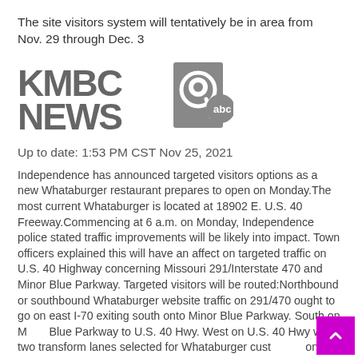The site visitors system will tentatively be in area from Nov. 29 through Dec. 3
[Figure (logo): KMBC News 9 ABC logo in gray]
Up to date: 1:53 PM CST Nov 25, 2021
Independence has announced targeted visitors options as a new Whataburger restaurant prepares to open on Monday.The most current Whataburger is located at 18902 E. U.S. 40 Freeway.Commencing at 6 a.m. on Monday, Independence police stated traffic improvements will be likely into impact. Town officers explained this will have an affect on targeted traffic on U.S. 40 Highway concerning Missouri 291/Interstate 470 and Minor Blue Parkway. Targeted visitors will be routed:Northbound or southbound Whataburger website traffic on 291/470 ought to go on east I-70 exiting south onto Minor Blue Parkway. South on Minor Blue Parkway to U.S. 40 Hwy. West on U.S. 40 Hwy with two transform lanes selected for Whataburger customers on the ideal (north) facet of the street. Traffic heading west on 40 Hwy will not be able to convert still left (north) at 40 and Small Blue Blue Parkway/Website traffic in